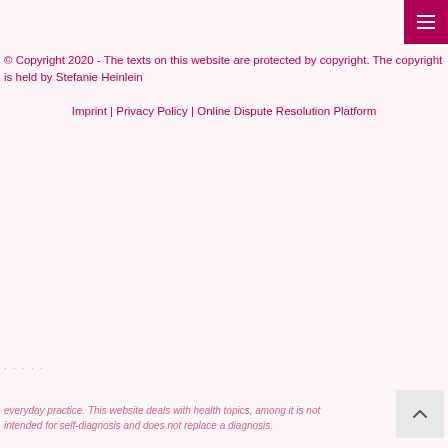© Copyright 2020 - The texts on this website are protected by copyright. The copyright is held by Stefanie Heinlein
Imprint | Privacy Policy | Online Dispute Resolution Platform
everyday practice. This website deals with health topics, among it is not intended for self-diagnosis and does not replace a diagnosis.